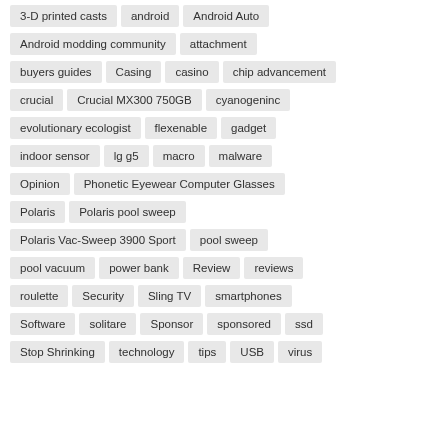3-D printed casts
android
Android Auto
Android modding community
attachment
buyers guides
Casing
casino
chip advancement
crucial
Crucial MX300 750GB
cyanogeninc
evolutionary ecologist
flexenable
gadget
indoor sensor
lg g5
macro
malware
Opinion
Phonetic Eyewear Computer Glasses
Polaris
Polaris pool sweep
Polaris Vac-Sweep 3900 Sport
pool sweep
pool vacuum
power bank
Review
reviews
roulette
Security
Sling TV
smartphones
Software
solitare
Sponsor
sponsored
ssd
Stop Shrinking
technology
tips
USB
virus